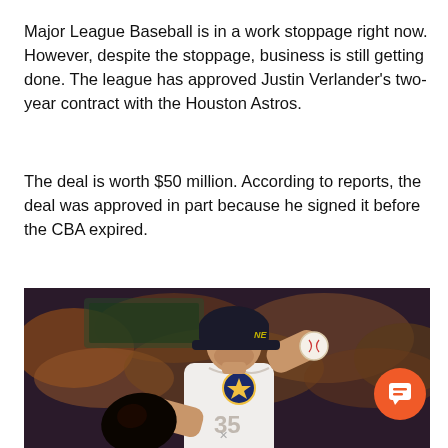Major League Baseball is in a work stoppage right now. However, despite the stoppage, business is still getting done. The league has approved Justin Verlander's two-year contract with the Houston Astros.
The deal is worth $50 million. According to reports, the deal was approved in part because he signed it before the CBA expired.
[Figure (photo): Photo of a baseball pitcher in a white Houston Astros uniform holding a baseball with his glove hand visible, crowd blurred in the background]